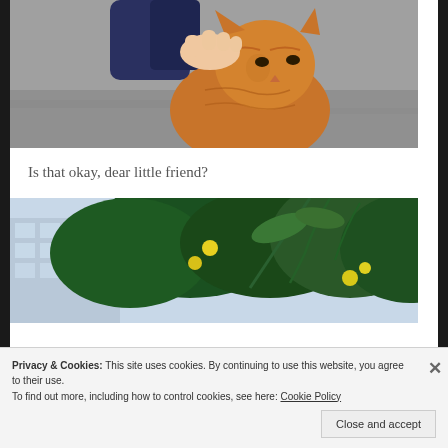[Figure (photo): Person petting an orange tabby cat sitting on a stone surface. The person is wearing a dark navy blue sweatshirt and reaching down to pet the cat on its head.]
Is that okay, dear little friend?
[Figure (photo): Outdoor garden scene with lush green plants and small yellow flowers, with a blue building visible in the background.]
Privacy & Cookies: This site uses cookies. By continuing to use this website, you agree to their use.
To find out more, including how to control cookies, see here: Cookie Policy
Close and accept